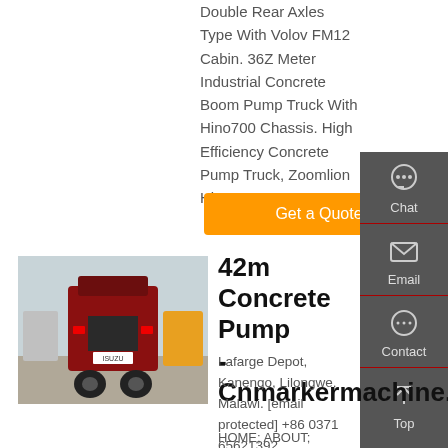Double Rear Axles Type With Volov FM12 Cabin. 36Z Meter Industrial Concrete Boom Pump Truck With Hino700 Chassis. High Efficiency Concrete Pump Truck, Zoomlion Hino700 Bo...
Get a Quote
[Figure (photo): Rear view of a concrete pump truck and heavy machinery at a depot yard]
42m Concrete Pump - Cnmarkermachine.C
Lafarge Depot, Kanengo, Lilongwe. Malawi. [email protected] +86 0371 65621392
HOME; ABOUT; SERVICES;